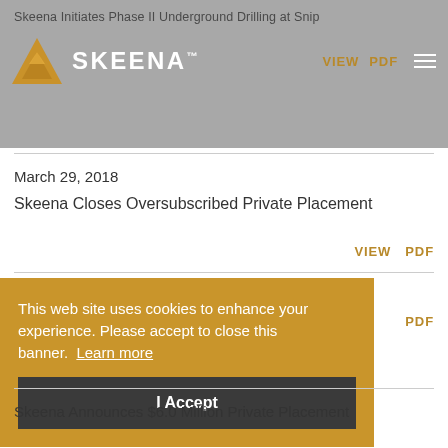Skeena Initiates Phase II Underground Drilling at Snip
[Figure (logo): Skeena Resources logo with golden triangle and SKEENA wordmark in white on grey background]
March 29, 2018
Skeena Closes Oversubscribed Private Placement
VIEW  PDF
This web site uses cookies to enhance your experience. Please accept to close this banner.  Learn more
I Accept
PDF
Skeena Announces $6.0 Million Private Placement